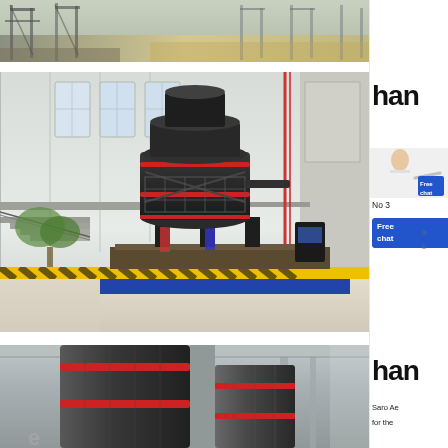[Figure (photo): Aerial/wide view of industrial plant or factory grounds with large structural frames and equipment]
[Figure (photo): Industrial cone crusher or grinding mill machine inside a large factory/warehouse, black heavy machinery on yellow/blue platform with stairs]
han
No 3
Free chat
[Figure (photo): Close-up of industrial mill/crusher equipment with red accent rings around cylindrical body]
han
Saro Ae
for the